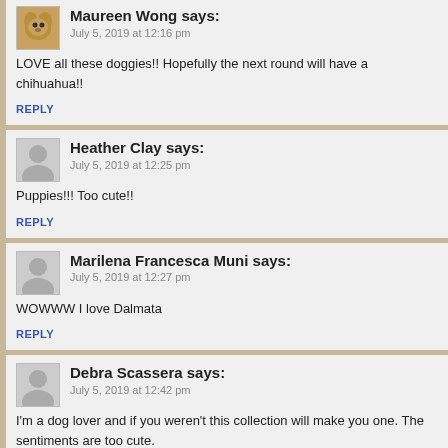Maureen Wong says:
July 5, 2019 at 12:16 pm
LOVE all these doggies!! Hopefully the next round will have a chihuahua!!
REPLY
Heather Clay says:
July 5, 2019 at 12:25 pm
Puppies!!! Too cute!!
REPLY
Marilena Francesca Muni says:
July 5, 2019 at 12:27 pm
WOWWW I love Dalmata
REPLY
Debra Scassera says:
July 5, 2019 at 12:42 pm
I'm a dog lover and if you weren't this collection will make you one. The sentiments are too cute.
REPLY